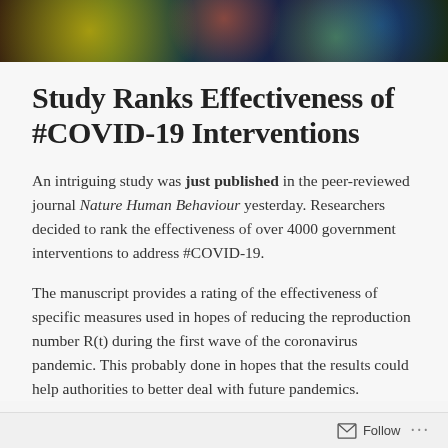[Figure (photo): Colorful header image showing coronavirus particles or molecular structures with vivid colors including gold, orange, green, and blue against a dark background]
Study Ranks Effectiveness of #COVID-19 Interventions
An intriguing study was just published in the peer-reviewed journal Nature Human Behaviour yesterday. Researchers decided to rank the effectiveness of over 4000 government interventions to address #COVID-19.
The manuscript provides a rating of the effectiveness of specific measures used in hopes of reducing the reproduction number R(t) during the first wave of the coronavirus pandemic. This probably done in hopes that the results could help authorities to better deal with future pandemics.
Follow